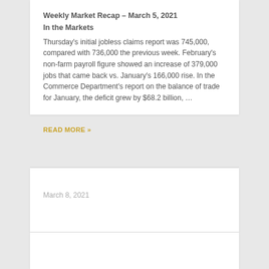Weekly Market Recap – March 5, 2021
In the Markets
Thursday's initial jobless claims report was 745,000, compared with 736,000 the previous week. February's non-farm payroll figure showed an increase of 379,000 jobs that came back vs. January's 166,000 rise. In the Commerce Department's report on the balance of trade for January, the deficit grew by $68.2 billion, …
READ MORE »
March 8, 2021